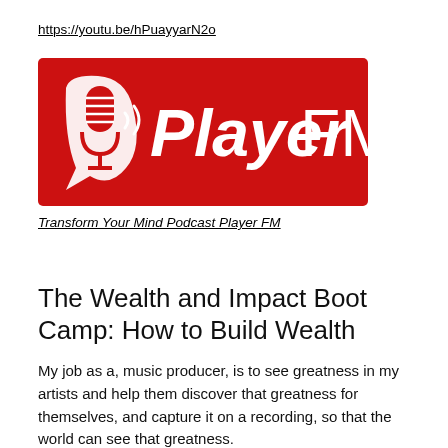https://youtu.be/hPuayyarN2o
[Figure (logo): Player FM logo — red background with white microphone icon and 'Player FM' text in white]
Transform Your Mind Podcast Player FM
The Wealth and Impact Boot Camp: How to Build Wealth
My job as a, music producer, is to see greatness in my artists and help them discover that greatness for themselves, and capture it on a recording, so that the world can see that greatness.